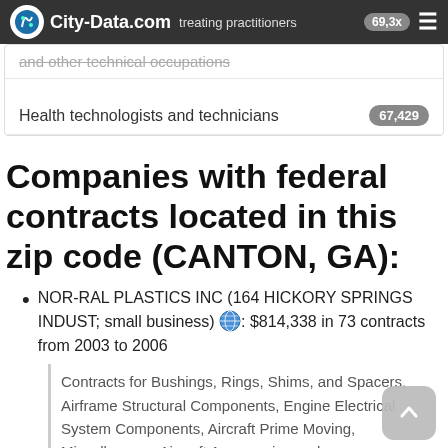City-Data.com | treating practitioners and other technical occupations
| treating practitioners and other technical occupations | 69,3x |
| Health technologists and technicians | 67,429 |
Companies with federal contracts located in this zip code (CANTON, GA):
NOR-RAL PLASTICS INC (164 HICKORY SPRINGS INDUST; small business) : $814,338 in 73 contracts from 2003 to 2006
Contracts for Bushings, Rings, Shims, and Spacers, Airframe Structural Components, Engine Electrical System Components, Aircraft Prime Moving, Miscellaneous Aircraft Accessories and